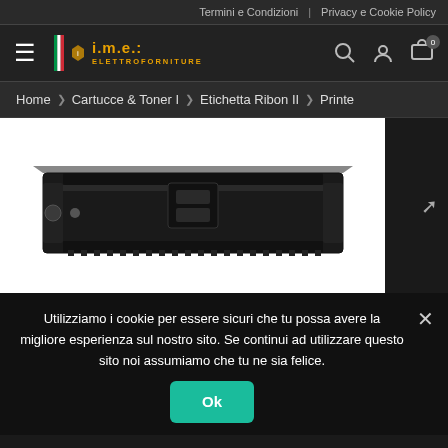Termini e Condizioni | Privacy e Cookie Policy
[Figure (logo): IME Elettroforniture logo with Italian flag and hamburger menu, search, user and cart icons]
Home › Cartucce & Toner I › Etichetta Ribon II › Printe
[Figure (photo): Black printer ribbon/cartridge on white background]
Utilizziamo i cookie per essere sicuri che tu possa avere la migliore esperienza sul nostro sito. Se continui ad utilizzare questo sito noi assumiamo che tu ne sia felice.
Ok